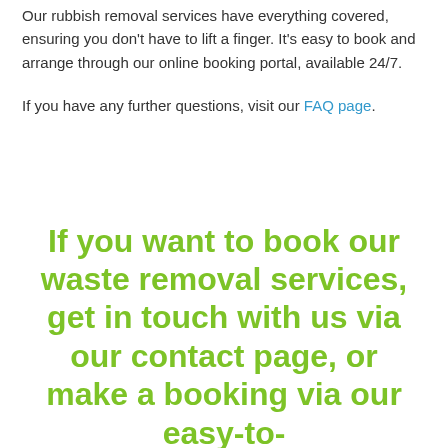Our rubbish removal services have everything covered, ensuring you don't have to lift a finger. It's easy to book and arrange through our online booking portal, available 24/7.
If you have any further questions, visit our FAQ page.
If you want to book our waste removal services, get in touch with us via our contact page, or make a booking via our easy-to-